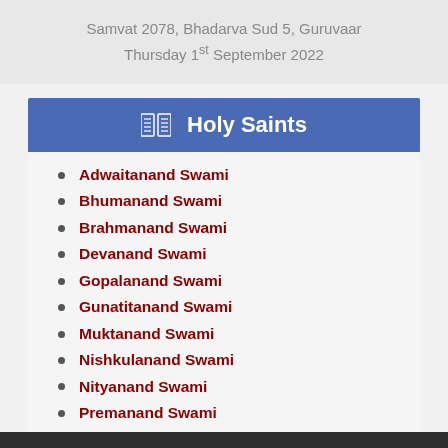Samvat 2078, Bhadarva Sud 5, Guruvaar
Thursday 1st September 2022
Holy Saints
Adwaitanand Swami
Bhumanand Swami
Brahmanand Swami
Devanand Swami
Gopalanand Swami
Gunatitanand Swami
Muktanand Swami
Nishkulanand Swami
Nityanand Swami
Premanand Swami
Shatanand Swami
Shukanand Swami